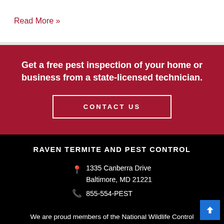Read More »
Get a free pest inspection of your home or business from a state-licensed technician.
CONTACT US
RAVEN TERMITE AND PEST CONTROL
1335 Canberra Drive Baltimore, MD 21221 855-554-PEST
We are proud members of the National Wildlife Control Operators Associates (NWCOA)!